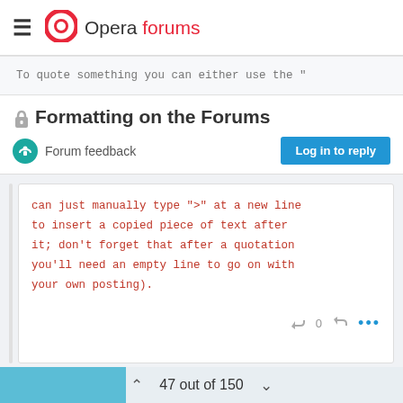Opera forums
To quote something you can either use the "
Formatting on the Forums
Forum feedback
Log in to reply
can just manually type ">" at a new line to insert a copied piece of text after it; don't forget that after a quotation you'll need an empty line to go on with your own posting).
47 out of 150